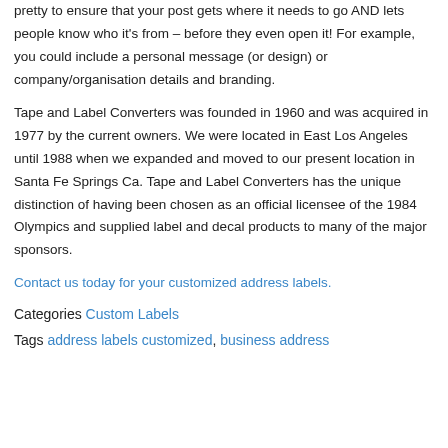pretty to ensure that your post gets where it needs to go AND lets people know who it's from – before they even open it! For example, you could include a personal message (or design) or company/organisation details and branding.
Tape and Label Converters was founded in 1960 and was acquired in 1977 by the current owners. We were located in East Los Angeles until 1988 when we expanded and moved to our present location in Santa Fe Springs Ca. Tape and Label Converters has the unique distinction of having been chosen as an official licensee of the 1984 Olympics and supplied label and decal products to many of the major sponsors.
Contact us today for your customized address labels.
Categories Custom Labels
Tags address labels customized, business address